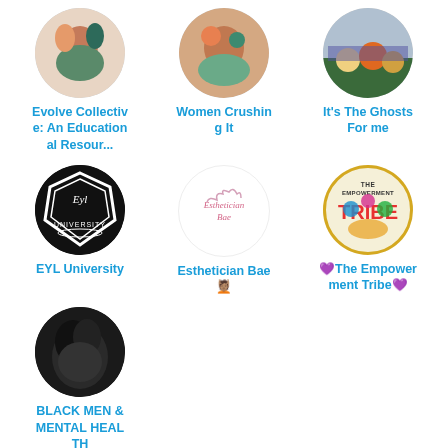[Figure (illustration): Circular avatar with abstract colorful face illustration]
Evolve Collective: An Educational Resour...
[Figure (photo): Circular avatar with abstract colorful illustration]
Women Crushing It
[Figure (photo): Circular avatar with crowd photo]
It's The Ghosts For me
[Figure (logo): EYL University shield logo in black and white]
EYL University
[Figure (logo): Esthetician Bae script logo in pink]
Esthetician Bae 💆🏽
[Figure (logo): The Empowerment Tribe circular logo with colorful figures]
💜The Empowerment Tribe💜
[Figure (photo): Black and white photo of person with dark hair]
BLACK MEN & MENTAL HEALTH